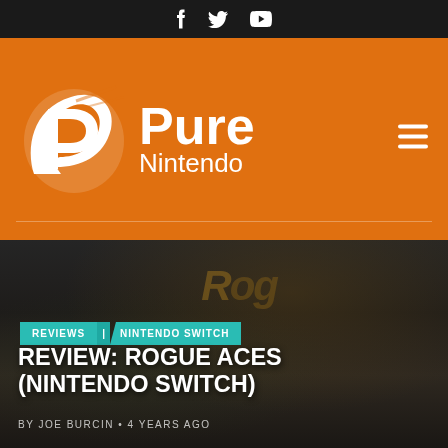Social icons: Facebook, Twitter, YouTube
[Figure (logo): Pure Nintendo logo — white stylized P with wing on orange background, with text 'Pure Nintendo']
[Figure (photo): Hero background image for Rogue Aces Nintendo Switch review, dark atmospheric game screenshot]
REVIEWS / NINTENDO SWITCH
REVIEW: ROGUE ACES (NINTENDO SWITCH)
BY JOE BURCIN • 4 YEARS AGO